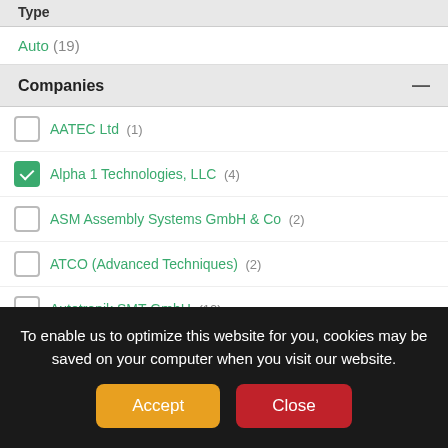Type
Auto (19)
Companies
AATEC Ltd (1)
Alpha 1 Technologies, LLC (4)
ASM Assembly Systems GmbH & Co (2)
ATCO (Advanced Techniques) (2)
Autotronik SMT-GmbH (10)
Beijing Borui Precision Electronics Technology Co., Ltd (5)
Beijing Chengliankaida Technology Co, Ltd (4)
Beijing Glichn S&T Development Co.,Ltd (7)
Number of Heads
To enable us to optimize this website for you, cookies may be saved on your computer when you visit our website.